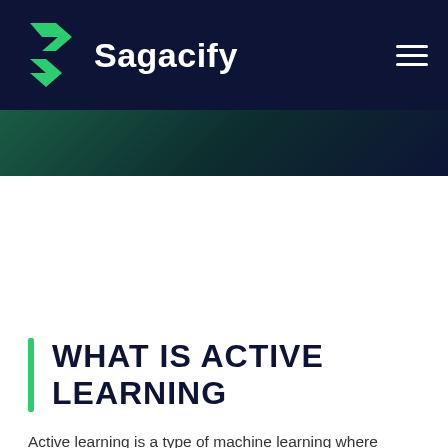Sagacify
[Figure (illustration): Dark teal to navy gradient hero banner below the navigation bar]
WHAT IS ACTIVE LEARNING
Active learning is a type of machine learning where